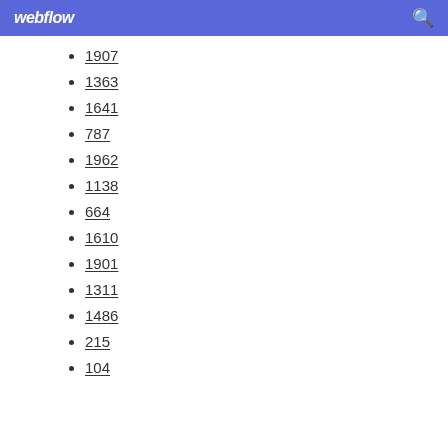webflow
1907
1363
1641
787
1962
1138
664
1610
1901
1311
1486
215
104